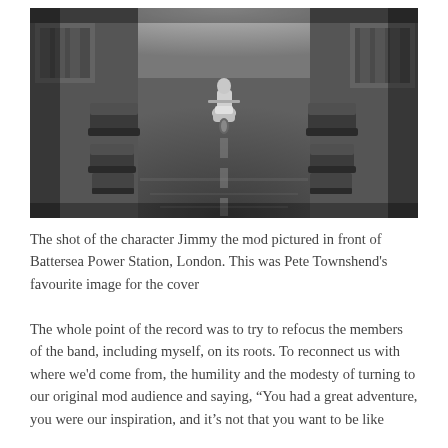[Figure (photo): Black and white photograph of a person riding a scooter down the middle of a wide street. Cars are parked along both sides. The street appears wet and the scene looks like 1960s London. The person is riding toward the camera.]
The shot of the character Jimmy the mod pictured in front of Battersea Power Station, London. This was Pete Townshend's favourite image for the cover
The whole point of the record was to try to refocus the members of the band, including myself, on its roots. To reconnect us with where we'd come from, the humility and the modesty of turning to our original mod audience and saying, “You had a great adventure, you were our inspiration, and it’s not that you want to be like